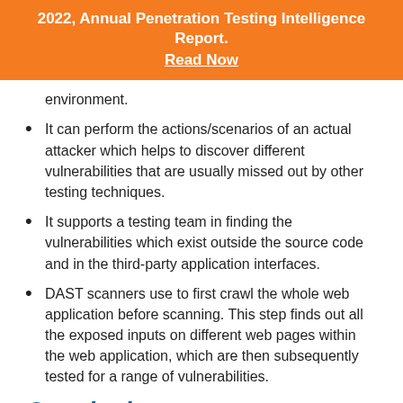2022, Annual Penetration Testing Intelligence Report. Read Now
environment.
It can perform the actions/scenarios of an actual attacker which helps to discover different vulnerabilities that are usually missed out by other testing techniques.
It supports a testing team in finding the vulnerabilities which exist outside the source code and in the third-party application interfaces.
DAST scanners use to first crawl the whole web application before scanning. This step finds out all the exposed inputs on different web pages within the web application, which are then subsequently tested for a range of vulnerabilities.
Conclusion